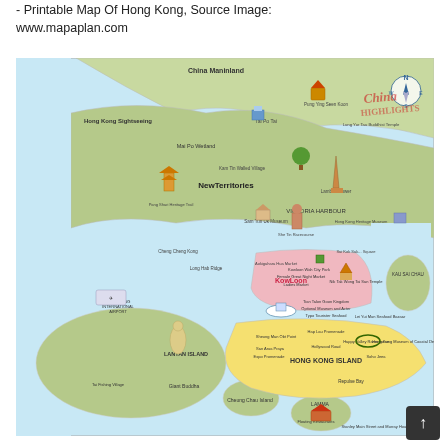- Printable Map Of Hong Kong, Source Image: www.mapaplan.com
[Figure (map): Illustrated tourist sightseeing map of Hong Kong showing regions including New Territories, Kowloon, Hong Kong Island, Lantau Island, Cheung Chau Island, Lamma Island, and China Mainland. Various landmarks and attractions are marked with illustrated icons including Giant Buddha, Hong Kong International Airport, Victoria Harbour, and many others.]